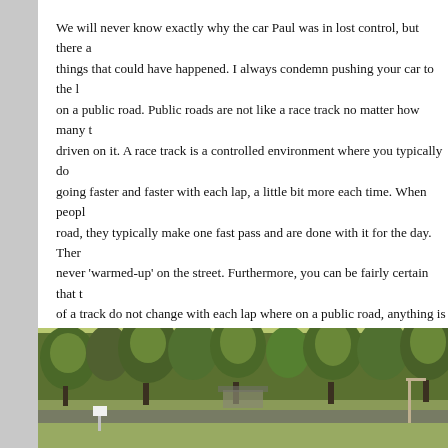We will never know exactly why the car Paul was in lost control, but there are things that could have happened. I always condemn pushing your car to the limit on a public road. Public roads are not like a race track no matter how many times driven on it. A race track is a controlled environment where you typically do this going faster and faster with each lap, a little bit more each time. When people road, they typically make one fast pass and are done with it for the day. There never 'warmed-up' on the street. Furthermore, you can be fairly certain that the of a track do not change with each lap where on a public road, anything is po
The road Paul was on was not totally smooth. Unlike roads where I live, the on has raised reflectors or bumps (called Botts Dots) to warn drivers they are lane. These bumps might have been enough to upset the handling of the car the limit of traction – which doesn't take much to do, especially on a low car suspension and stiff sport tires.
[Figure (photo): Outdoor scene showing a road with trees lining both sides. Green grass and trees visible, sunny daylight conditions. Appears to be a residential or park road area.]